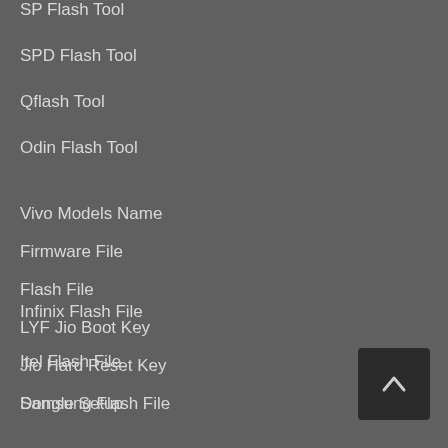SP Flash Tool
SPD Flash Tool
Qflash Tool
Odin Flash Tool
Vivo Models Name
Firmware File
Flash File
LYF Jio Boot Key
Jio Hard Reset Key
Dongle Setup
Infinix Flash File
Itel Flash File
Samsung Flash File